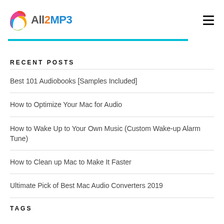[Figure (logo): All2MP3 logo with colorful swoosh icon and text 'All2MP3']
RECENT POSTS
Best 101 Audiobooks [Samples Included]
How to Optimize Your Mac for Audio
How to Wake Up to Your Own Music (Custom Wake-up Alarm Tune)
How to Clean up Mac to Make It Faster
Ultimate Pick of Best Mac Audio Converters 2019
TAGS